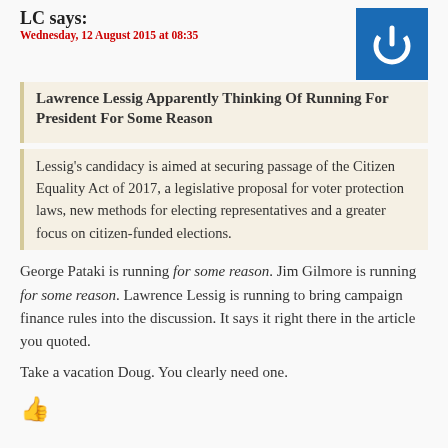LC says:
Wednesday, 12 August 2015 at 08:35
Lawrence Lessig Apparently Thinking Of Running For President For Some Reason
Lessig's candidacy is aimed at securing passage of the Citizen Equality Act of 2017, a legislative proposal for voter protection laws, new methods for electing representatives and a greater focus on citizen-funded elections.
George Pataki is running for some reason. Jim Gilmore is running for some reason. Lawrence Lessig is running to bring campaign finance rules into the discussion. It says it right there in the article you quoted.
Take a vacation Doug. You clearly need one.
[Figure (illustration): Red thumbs up icon]